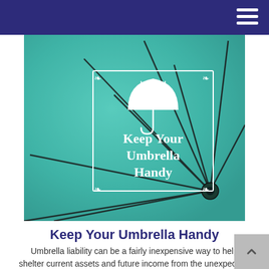[Figure (photo): Close-up view of a teal/green umbrella from below showing spokes radiating outward, with an overlaid white decorative box containing an umbrella icon and the text 'Keep Your Umbrella Handy']
Keep Your Umbrella Handy
Umbrella liability can be a fairly inexpensive way to help shelter current assets and future income from the unexpected.